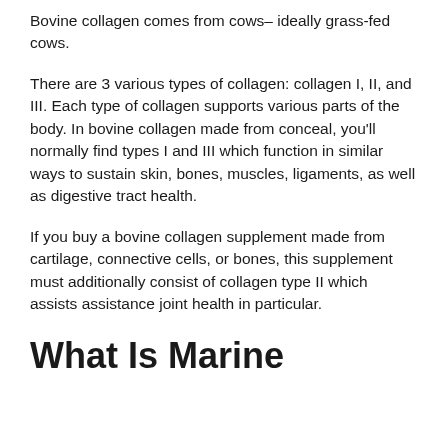Bovine collagen comes from cows– ideally grass-fed cows.
There are 3 various types of collagen: collagen I, II, and III. Each type of collagen supports various parts of the body. In bovine collagen made from conceal, you'll normally find types I and III which function in similar ways to sustain skin, bones, muscles, ligaments, as well as digestive tract health.
If you buy a bovine collagen supplement made from cartilage, connective cells, or bones, this supplement must additionally consist of collagen type II which assists assistance joint health in particular.
What Is Marine